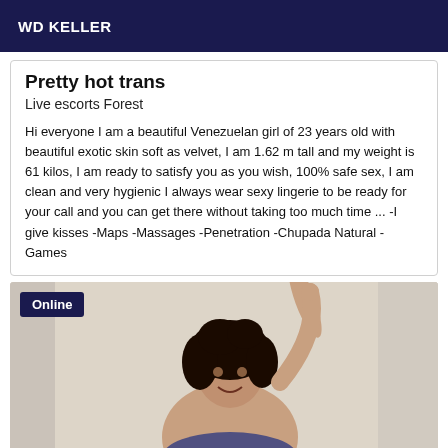WD KELLER
Pretty hot trans
Live escorts Forest
Hi everyone I am a beautiful Venezuelan girl of 23 years old with beautiful exotic skin soft as velvet, I am 1.62 m tall and my weight is 61 kilos, I am ready to satisfy you as you wish, 100% safe sex, I am clean and very hygienic I always wear sexy lingerie to be ready for your call and you can get there without taking too much time ... -I give kisses -Maps -Massages -Penetration -Chupada Natural -Games
[Figure (photo): Woman with dark curly hair in a white room, arm raised, smiling. Online badge overlay in top left.]